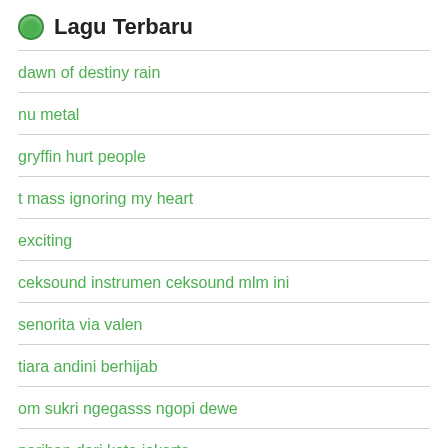Lagu Terbaru
dawn of destiny rain
nu metal
gryffin hurt people
t mass ignoring my heart
exciting
ceksound instrumen ceksound mlm ini
senorita via valen
tiara andini berhijab
om sukri ngegasss ngopi dewe
pariban dari kota jakarta